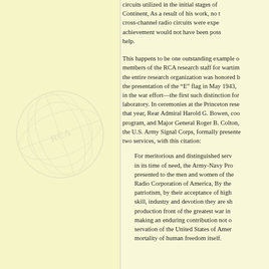circuits utilized in the initial stages of the Continent, As a result of his work, no cross-channel radio circuits were expe achievement would not have been poss help.
This happens to be one outstanding example of members of the RCA research staff for wartime the entire research organization was honored by the presentation of the "E" flag in May 1943, in the war effort—the first such distinction for a laboratory. In ceremonies at the Princeton research that year, Rear Admiral Harold G. Bowen, cooperative program, and Major General Roger B. Colton, the U.S. Army Signal Corps, formally presented two services, with this citation:
For meritorious and distinguished service in its time of need, the Army-Navy Production Award is presented to the men and women of the Radio Corporation of America. By their patriotism, by their acceptance of high responsibility, by their skill, industry and devotion they are sharing the burden on the production front of the greatest war in history, and they are making an enduring contribution not only to the preservation of the United States of America, but to the immortality of human freedom itself.